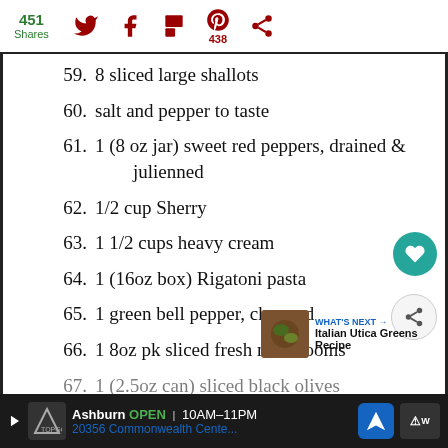451 Shares | Social sharing icons (Twitter, Facebook, Flipboard, Pinterest 438, other)
59. 8 sliced large shallots
60. salt and pepper to taste
61. 1 (8 oz jar) sweet red peppers, drained & julienned
62. 1/2 cup Sherry
63. 1 1/2 cups heavy cream
64. 1 (16oz box) Rigatoni pasta
65. 1 green bell pepper, chopped
66. 1 8oz pk sliced fresh mushrooms
67. 1 (2.5oz can) sliced black olives
Ad: Ashburn OPEN 10AM–11PM | 20356 Commonwealth Cente...